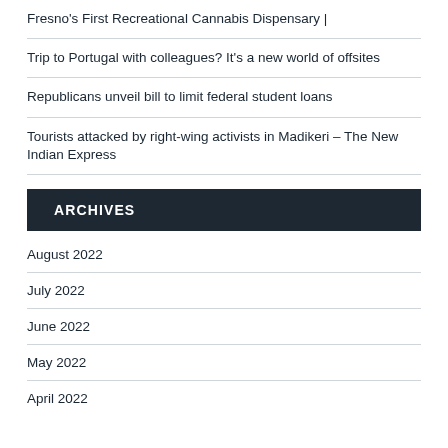Fresno's First Recreational Cannabis Dispensary |
Trip to Portugal with colleagues? It's a new world of offsites
Republicans unveil bill to limit federal student loans
Tourists attacked by right-wing activists in Madikeri – The New Indian Express
ARCHIVES
August 2022
July 2022
June 2022
May 2022
April 2022